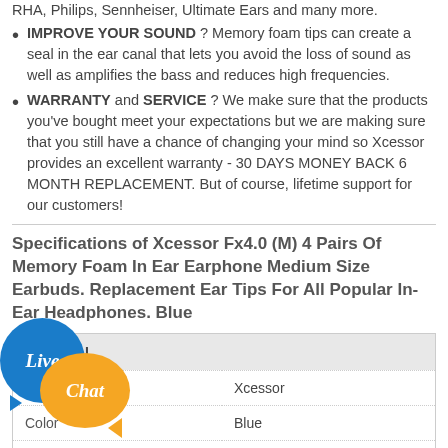RHA, Philips, Sennheiser, Ultimate Ears and many more.
IMPROVE YOUR SOUND ? Memory foam tips can create a seal in the ear canal that lets you avoid the loss of sound as well as amplifies the bass and reduces high frequencies.
WARRANTY and SERVICE ? We make sure that the products you've bought meet your expectations but we are making sure that you still have a chance of changing your mind so Xcessor provides an excellent warranty - 30 DAYS MONEY BACK 6 MONTH REPLACEMENT. But of course, lifetime support for our customers!
Specifications of Xcessor Fx4.0 (M) 4 Pairs Of Memory Foam In Ear Earphone Medium Size Earbuds. Replacement Ear Tips For All Popular In-Ear Headphones. Blue
| GENERAL |  |
| --- | --- |
| Brand Name | Xcessor |
| Color | Blue |
|  | M |
|  | 0.02 pounds |
| Dimensions | 2.76x0.39x3.15 |